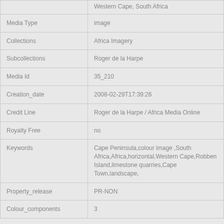| Field | Value |
| --- | --- |
|  | Western Cape, South Africa |
| Media Type | image |
| Collections | Africa Imagery |
| Subcollections | Roger de la Harpe |
| Media Id | 35_210 |
| Creation_date | 2008-02-29T17:39:26 |
| Credit Line | Roger de la Harpe / Africa Media Online |
| Royalty Free | no |
| Keywords | Cape Peninsula,colour image ,South Africa,Africa,horizontal,Western Cape,Robben Island,limestone quarries,Cape Town,landscape, |
| Property_release | PR-NON |
| Colour_components | 3 |